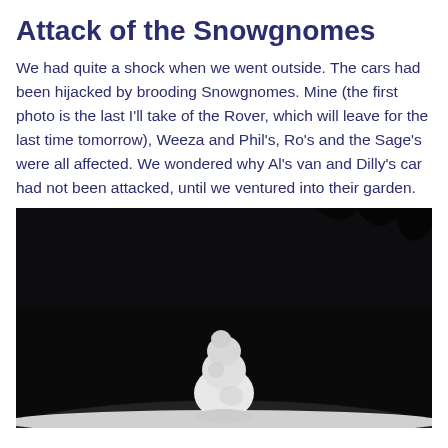Attack of the Snowgnomes
We had quite a shock when we went outside. The cars had been hijacked by brooding Snowgnomes. Mine (the first photo is the last I'll take of the Rover, which will leave for the last time tomorrow), Weeza and Phil's, Ro's and the Sage's were all affected. We wondered why Al's van and Dilly's car had not been attacked, until we ventured into their garden.
[Figure (photo): A black and white night photograph showing a small snowman figure sitting on top of a car roof, seen from behind, against a dark background.]